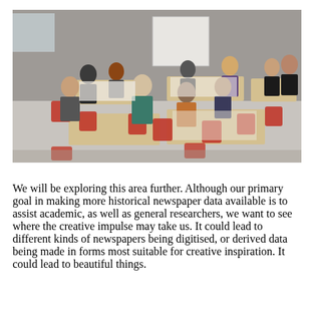[Figure (photo): Group of people sitting and standing around tables in a workshop or collaborative session. Red chairs, light wooden tables, papers spread on tables. Participants appear to be working on documents together in a modern room with grey walls and a whiteboard.]
We will be exploring this area further. Although our primary goal in making more historical newspaper data available is to assist academic, as well as general researchers, we want to see where the creative impulse may take us. It could lead to different kinds of newspapers being digitised, or derived data being made in forms most suitable for creative inspiration. It could lead to beautiful things.